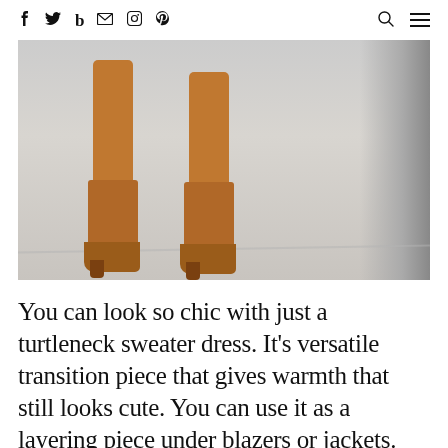f  twitter  b  email  instagram  p  [search] [menu]
[Figure (photo): Close-up photo of a person wearing tan/camel suede over-the-knee boots, standing on a concrete sidewalk. Only the lower legs and boots are visible. The background is a light grey concrete surface with a darker grey wall on the right side.]
You can look so chic with just a turtleneck sweater dress. It’s versatile transition piece that gives warmth that still looks cute. You can use it as a layering piece under blazers or jackets. And looks great tall boots, ankle boots or